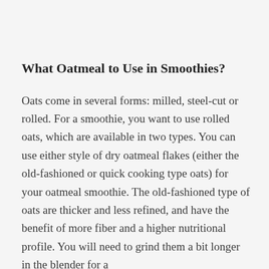What Oatmeal to Use in Smoothies?
Oats come in several forms: milled, steel-cut or rolled. For a smoothie, you want to use rolled oats, which are available in two types. You can use either style of dry oatmeal flakes (either the old-fashioned or quick cooking type oats) for your oatmeal smoothie. The old-fashioned type of oats are thicker and less refined, and have the benefit of more fiber and a higher nutritional profile. You will need to grind them a bit longer in the blender for a